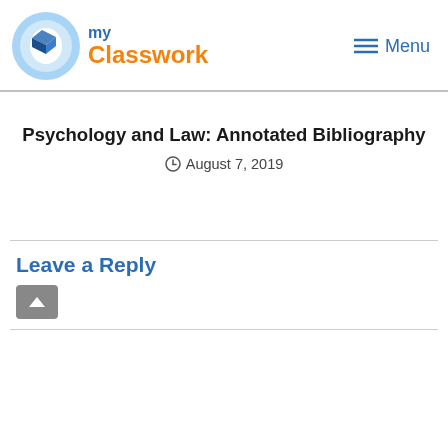[Figure (logo): Do my Classwork logo with blue circular icon containing a pencil and 'DO' text, followed by 'my' in blue and 'Classwork' in orange]
Menu
Psychology and Law: Annotated Bibliography
August 7, 2019
Leave a Reply